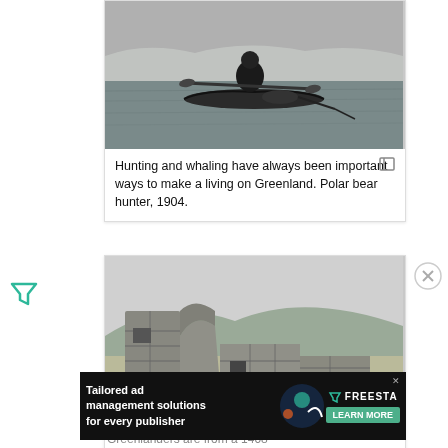[Figure (photo): Black and white historical photograph of a person in a kayak on water, hunting — polar bear hunter 1904, Greenland]
Hunting and whaling have always been important ways to make a living on Greenland. Polar bear hunter, 1904.
[Figure (photo): Black and white historical photograph of stone ruins of a building with hills in the background, Greenland]
Greenlanders are from a 1408